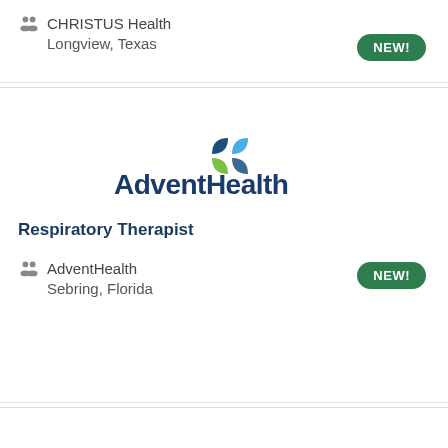CHRISTUS Health
Longview, Texas
[Figure (logo): AdventHealth logo with colorful leaf icon and dark blue text]
Respiratory Therapist
AdventHealth
Sebring, Florida